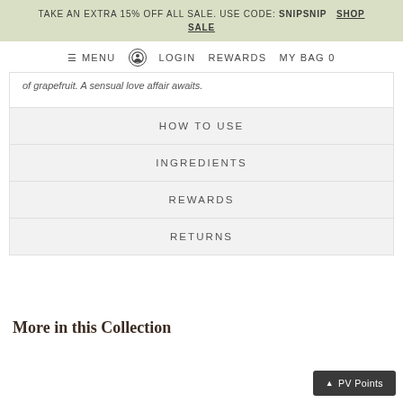TAKE AN EXTRA 15% OFF ALL SALE. USE CODE: SNIPSNIP  SHOP SALE
≡ MENU  ⊙ LOGIN  REWARDS  MY BAG 0
of grapefruit. A sensual love affair awaits.
HOW TO USE
INGREDIENTS
REWARDS
RETURNS
More in this Collection